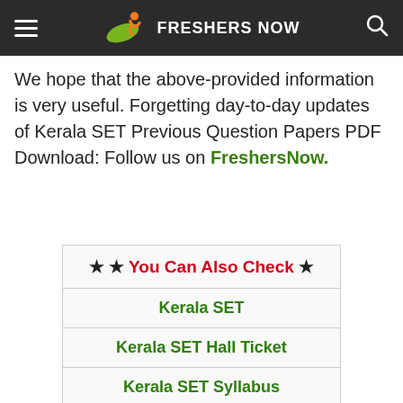FRESHERS NOW
We hope that the above-provided information is very useful. Forgetting day-to-day updates of Kerala SET Previous Question Papers PDF Download: Follow us on FreshersNow.
| ★ ★ You Can Also Check ★ |
| --- |
| Kerala SET |
| Kerala SET Hall Ticket |
| Kerala SET Syllabus |
| Kerala Govt Jobs |